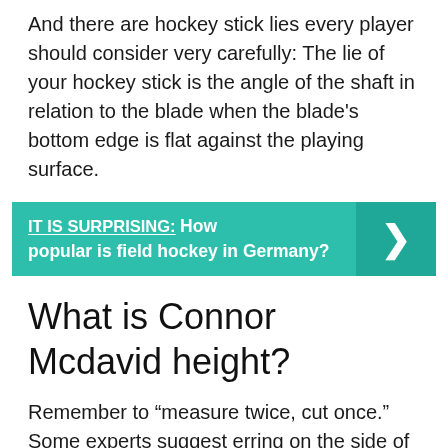And there are hockey stick lies every player should consider very carefully: The lie of your hockey stick is the angle of the shaft in relation to the blade when the blade's bottom edge is flat against the playing surface.
[Figure (infographic): Teal banner with 'IT IS SURPRISING:' label and text 'How popular is field hockey in Germany?' with a right-arrow chevron on the right side.]
What is Connor Mcdavid height?
Remember to “measure twice, cut once.” Some experts suggest erring on the side of caution: Measure the shaft, mark it where you think it should be cut, and then make